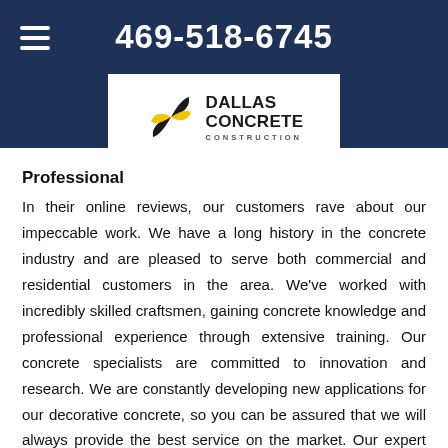469-518-6745
[Figure (logo): Dallas Concrete Construction logo with black and yellow pinwheel/leaf shapes and bold text]
Professional
In their online reviews, our customers rave about our impeccable work. We have a long history in the concrete industry and are pleased to serve both commercial and residential customers in the area. We've worked with incredibly skilled craftsmen, gaining concrete knowledge and professional experience through extensive training. Our concrete specialists are committed to innovation and research. We are constantly developing new applications for our decorative concrete, so you can be assured that we will always provide the best service on the market. Our expert team would be delighted to show how our stamped concrete